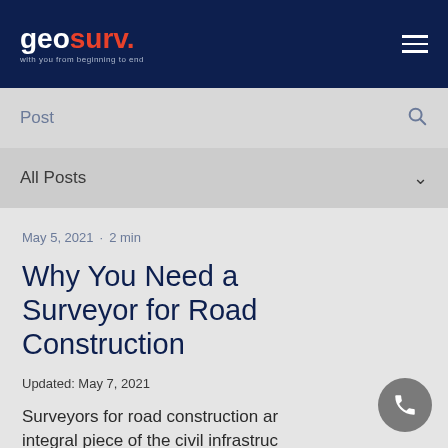geosurv. with you from beginning to end
Post
All Posts
May 5, 2021 · 2 min
Why You Need a Surveyor for Road Construction
Updated: May 7, 2021
Surveyors for road construction are an integral piece of the civil infrastructure puzzle. From planning road locations...